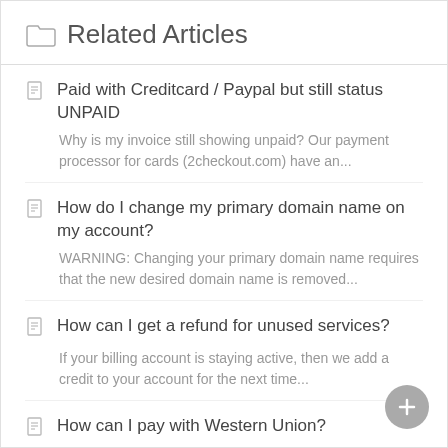Related Articles
Paid with Creditcard / Paypal but still status UNPAID
Why is my invoice still showing unpaid? Our payment processor for cards (2checkout.com) have an...
How do I change my primary domain name on my account?
WARNING: Changing your primary domain name requires that the new desired domain name is removed...
How can I get a refund for unused services?
If your billing account is staying active, then we add a credit to your account for the next time...
How can I pay with Western Union?
Using Western Union / Moneygram to pay web hosting, reseller hosting and domain registration is...